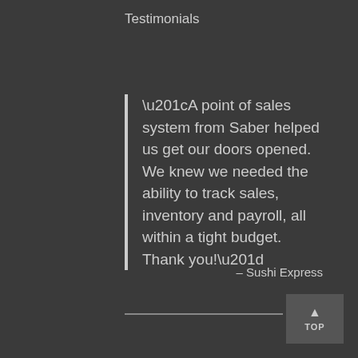Testimonials
“A point of sales system from Saber helped us get our doors opened. We knew we needed the ability to track sales, inventory and payroll, all within a tight budget. Thank you!”
– Sushi Express
TOP